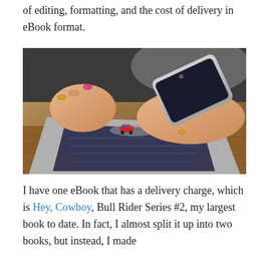of editing, formatting, and the cost of delivery in eBook format.
[Figure (photo): A woman with pink nails holding a smartphone over an open laptop on a wooden desk. A toy car is visible on the laptop trackpad area.]
I have one eBook that has a delivery charge, which is Hey, Cowboy, Bull Rider Series #2, my largest book to date. In fact, I almost split it up into two books, but instead, I made